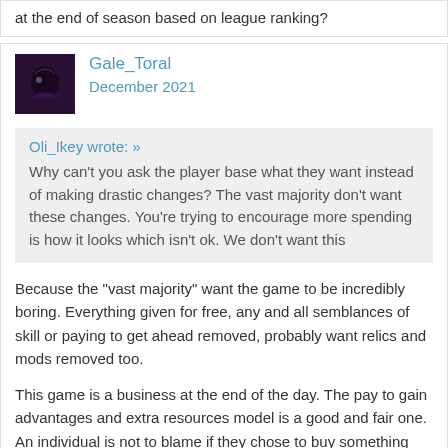at the end of season based on league ranking?
Gale_Toral
December 2021
Oli_Ikey wrote: » Why can't you ask the player base what they want instead of making drastic changes? The vast majority don't want these changes. You're trying to encourage more spending is how it looks which isn't ok. We don't want this
Because the "vast majority" want the game to be incredibly boring. Everything given for free, any and all semblances of skill or paying to get ahead removed, probably want relics and mods removed too.
This game is a business at the end of the day. The pay to gain advantages and extra resources model is a good and fair one. An individual is not to blame if they chose to buy something